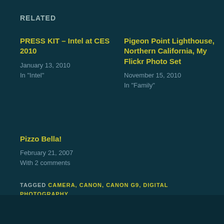RELATED
PRESS KIT – Intel at CES 2010
January 13, 2010
In "Intel"
Pigeon Point Lighthouse, Northern California, My Flickr Photo Set
November 15, 2010
In "Family"
Pizzo Bella!
February 21, 2007
With 2 comments
TAGGED CAMERA, CANON, CANON G9, DIGITAL PHOTOGRAPHY
PUBLISHED BY